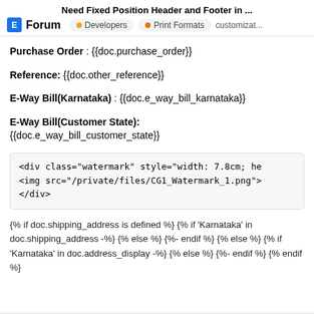Need Fixed Position Header and Footer in ... Forum • Developers • Print Formats customizat...
Purchase Order : {{doc.purchase_order}}
Reference: {{doc.other_reference}}
E-Way Bill(Karnataka) : {{doc.e_way_bill_karnataka}}
E-Way Bill(Customer State): {{doc.e_way_bill_customer_state}}
<div class="watermark" style="width: 7.8cm; he
<img src="/private/files/CG1_Watermark_1.png">
</div>
{% if doc.shipping_address is defined %} {% if 'Karnataka' in doc.shipping_address -%} {% else %} {%- endif %} {% else %} {% if 'Karnataka' in doc.address_display -%} {% else %} {%- endif %} {% endif %}